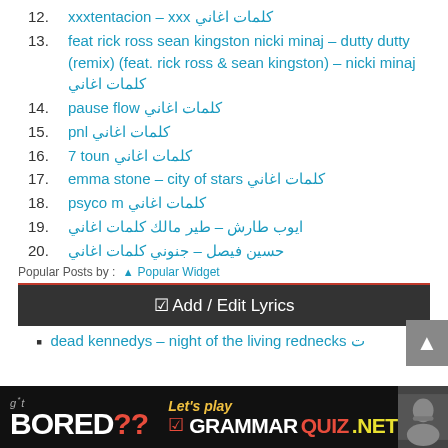12. xxxtentacion – xxx كلمات اغاني
13. feat rick ross sean kingston nicki minaj – dutty dutty (remix) (feat. rick ross & sean kingston) – nicki minaj كلمات اغاني
14. pause flow كلمات اغاني
15. pnl كلمات اغاني
16. 7 toun كلمات اغاني
17. emma stone – city of stars كلمات اغاني
18. psyco m كلمات اغاني
19. ايوب طارش – طير مالك كلمات اغاني
20. حسين فيصل – جنوني كلمات اغاني
Popular Posts by : ▲ Popular Widget
☑ Add / Edit Lyrics
dead kennedys – night of the living rednecks ت